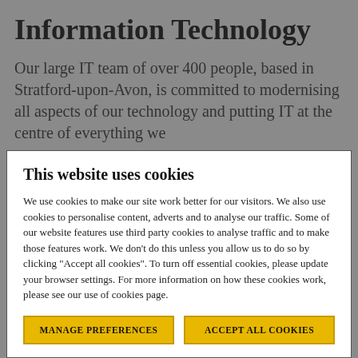Information Technology
Our large IT team of over 400 people, based in Stratford-upon-Avon, is committed to modernising all aspects of our technology and putting IT at the centre of everything we
This website uses cookies
We use cookies to make our site work better for our visitors. We also use cookies to personalise content, adverts and to analyse our traffic. Some of our website features use third party cookies to analyse traffic and to make those features work. We don’t do this unless you allow us to do so by clicking “Accept all cookies”. To turn off essential cookies, please update your browser settings. For more information on how these cookies work, please see our use of cookies page.
MANAGE PREFERENCES
ACCEPT ALL COOKIES